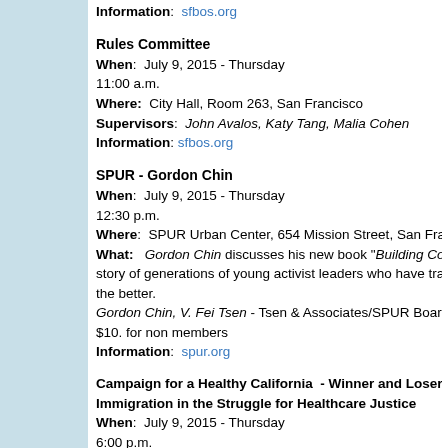Information: sfbos.org
Rules Committee
When: July 9, 2015 - Thursday
11:00 a.m.
Where: City Hall, Room 263, San Francisco
Supervisors: John Avalos, Katy Tang, Malia Cohen
Information: sfbos.org
SPUR - Gordon Chin
When: July 9, 2015 - Thursday
12:30 p.m.
Where: SPUR Urban Center, 654 Mission Street, San Francisco
What: Gordon Chin discusses his new book "Building Commu... story of generations of young activist leaders who have transfor... the better.
Gordon Chin, V. Fei Tsen - Tsen & Associates/SPUR Board of D...
$10. for non members
Information: spur.org
Campaign for a Healthy California - Winner and Losers afte... Immigration in the Struggle for Healthcare Justice
When: July 9, 2015 - Thursday
6:00 p.m.
Where: Bayanihan Community Center, 1010 Mission Street, S...